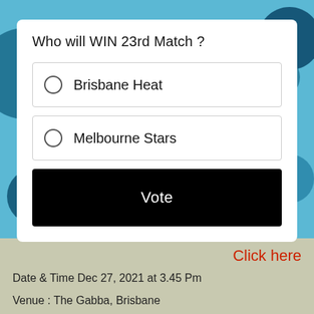Who will WIN 23rd Match ?
Brisbane Heat
Melbourne Stars
Vote
Click here
Date & Time Dec 27, 2021 at 3.45 Pm
Venue : The Gabba, Brisbane